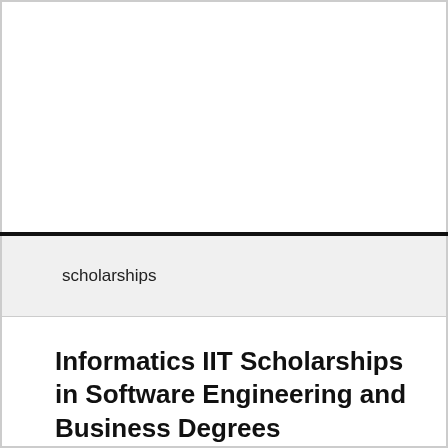scholarships
Informatics IIT Scholarships in Software Engineering and Business Degrees